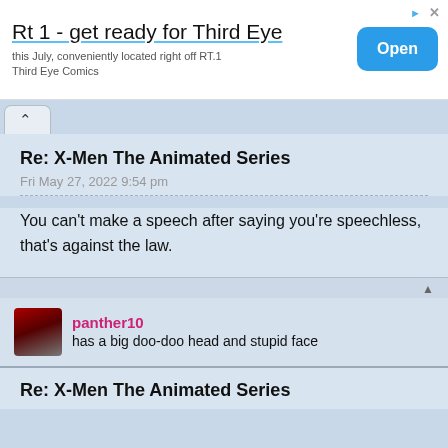[Figure (screenshot): Advertisement banner: 'Rt 1 - get ready for Third Eye' with subtext 'this July, conveniently located right off RT.1 Third Eye Comics' and a blue 'Open' button]
Re: X-Men The Animated Series
Fri May 27, 2022 9:54 pm
You can't make a speech after saying you're speechless, that's against the law.
panther10 has a big doo-doo head and stupid face
Re: X-Men The Animated Series